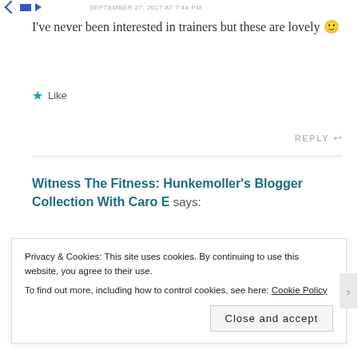SEPTEMBER 27, 2017 AT 7:44 PM
I've never been interested in trainers but these are lovely 🙂
★ Like
REPLY ↩
Witness The Fitness: Hunkemoller's Blogger Collection With Caro E says:
Privacy & Cookies: This site uses cookies. By continuing to use this website, you agree to their use.
To find out more, including how to control cookies, see here: Cookie Policy
Close and accept